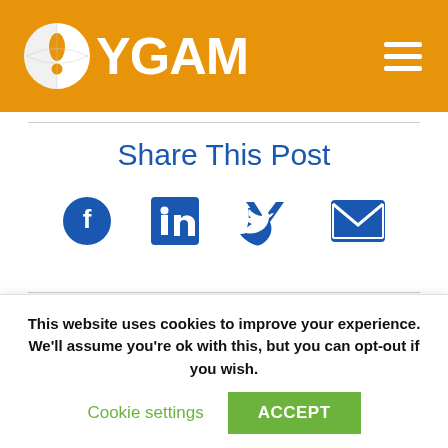[Figure (logo): YGAM logo with white circular icon and YGAM text on orange background, with hamburger menu icon top right]
Share This Post
[Figure (infographic): Social sharing icons: Facebook, LinkedIn, Twitter, Email in dark blue]
On the 30th. June 2010, Anne Evans received some
This website uses cookies to improve your experience. We'll assume you're ok with this, but you can opt-out if you wish.
Cookie settings    ACCEPT